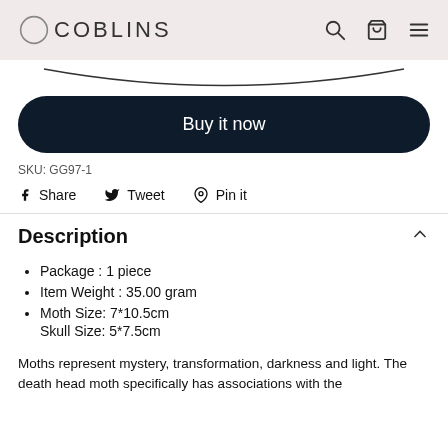COBLINS
[Figure (screenshot): Arc/curve shape at top of content area]
Buy it now
SKU: GG97-1
Share   Tweet   Pin it
Description
Package : 1 piece
Item Weight : 35.00 gram
Moth Size: 7*10.5cm
Skull Size: 5*7.5cm
Moths represent mystery, transformation, darkness and light. The death head moth specifically has associations with the